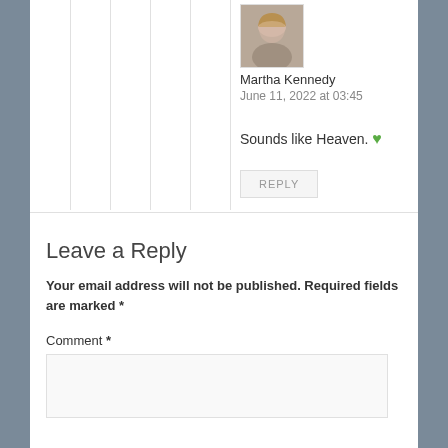[Figure (photo): Small avatar photo of Martha Kennedy, a person with light hair]
Martha Kennedy
June 11, 2022 at 03:45
Sounds like Heaven. 💚
REPLY
Leave a Reply
Your email address will not be published. Required fields are marked *
Comment *